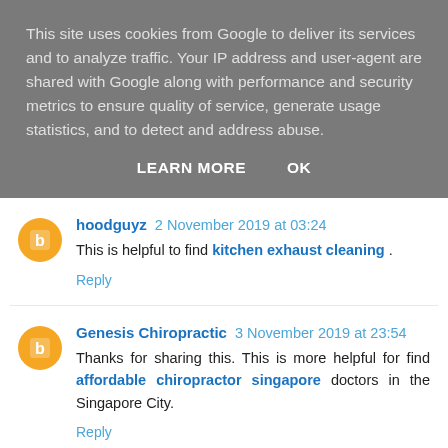This site uses cookies from Google to deliver its services and to analyze traffic. Your IP address and user-agent are shared with Google along with performance and security metrics to ensure quality of service, generate usage statistics, and to detect and address abuse.
LEARN MORE   OK
hoodguyz 2 November 2019 at 03:24
This is helpful to find kitchen exhaust cleaning .
Reply
Genesis Chiropractic 3 November 2019 at 23:54
Thanks for sharing this. This is more helpful for find affordable chiropractor singapore doctors in the Singapore City.
Reply